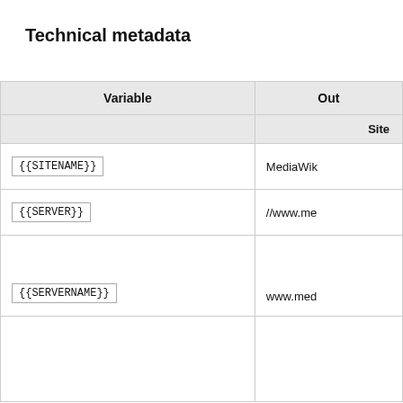Technical metadata
| Variable | Output (Site) |
| --- | --- |
| {{SITENAME}} | MediaWik... |
| {{SERVER}} | //www.me... |
| {{SERVERNAME}} | www.med... |
|  |  |